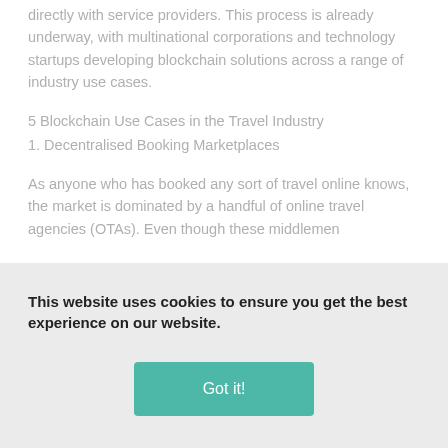directly with service providers. This process is already underway, with multinational corporations and technology startups developing blockchain solutions across a range of industry use cases.
5 Blockchain Use Cases in the Travel Industry
1. Decentralised Booking Marketplaces
As anyone who has booked any sort of travel online knows, the market is dominated by a handful of online travel agencies (OTAs). Even though these middlemen
[faded/obscured text behind cookie banner]
This website uses cookies to ensure you get the best experience on our website.
Got it!